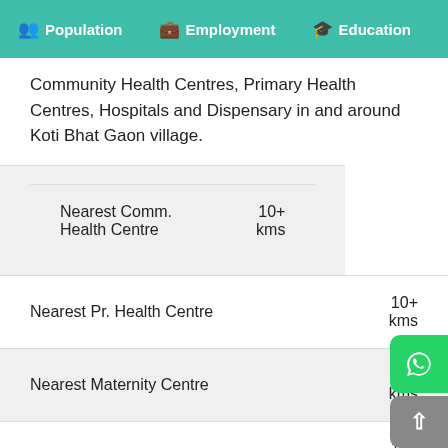Population  Employment  Education  He...
Community Health Centres, Primary Health Centres, Hospitals and Dispensary in and around Koti Bhat Gaon village.
| Facility | Distance |
| --- | --- |
| Nearest Comm. Health Centre | 10+ kms |
| Nearest Pr. Health Centre | 10+ kms |
| Nearest Maternity Centre | 10+ kms |
| Nearest Hospital - Allopathic | 10+ kms |
| Nearest Dispensary | 10+ kms |
| Nearest Mobile Clinic | <5 kms |